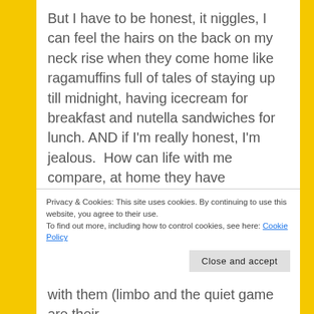But I have to be honest, it niggles, I can feel the hairs on the back on my neck rise when they come home like ragamuffins full of tales of staying up till midnight, having icecream for breakfast and nutella sandwiches for lunch. AND if I'm really honest, I'm jealous.  How can life with me compare, at home they have bedtimes, they have to eat their vegetables, we have routines and rules about behaviour and consequences for non compliance.  Is there any wonder that occasionally during fall outs they throw at me 'I want to live with Daddy' – heavens.. who wouldn't! (Well, actually me, been
Privacy & Cookies: This site uses cookies. By continuing to use this website, you agree to their use.
To find out more, including how to control cookies, see here: Cookie Policy
Close and accept
with them (limbo and the quiet game are their